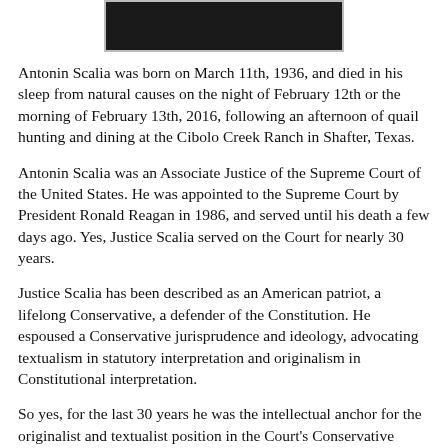[Figure (photo): Black and white photograph of Antonin Scalia, partially visible at the top of the page.]
Antonin Scalia was born on March 11th, 1936, and died in his sleep from natural causes on the night of February 12th or the morning of February 13th, 2016, following an afternoon of quail hunting and dining at the Cibolo Creek Ranch in Shafter, Texas.
Antonin Scalia was an Associate Justice of the Supreme Court of the United States. He was appointed to the Supreme Court by President Ronald Reagan in 1986, and served until his death a few days ago. Yes, Justice Scalia served on the Court for nearly 30 years.
Justice Scalia has been described as an American patriot, a lifelong Conservative, a defender of the Constitution. He espoused a Conservative jurisprudence and ideology, advocating textualism in statutory interpretation and originalism in Constitutional interpretation.
So yes, for the last 30 years he was the intellectual anchor for the originalist and textualist position in the Court's Conservative...